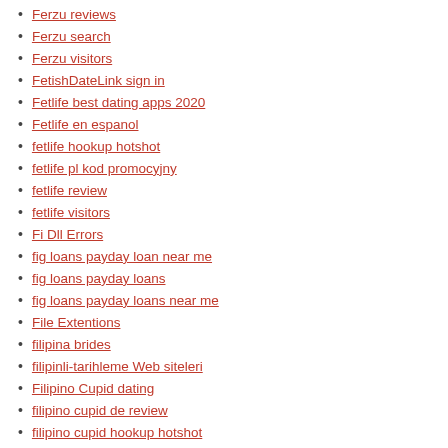ferzu review
Ferzu reviews
Ferzu search
Ferzu visitors
FetishDateLink sign in
Fetlife best dating apps 2020
Fetlife en espanol
fetlife hookup hotshot
fetlife pl kod promocyjny
fetlife review
fetlife visitors
Fi Dll Errors
fig loans payday loan near me
fig loans payday loans
fig loans payday loans near me
File Extentions
filipina brides
filipinli-tarihleme Web siteleri
Filipino Cupid dating
filipino cupid de review
filipino cupid hookup hotshot
filipino cupid review
Filipino Cupid search
filipino cupid username
Filipino Dating reviews